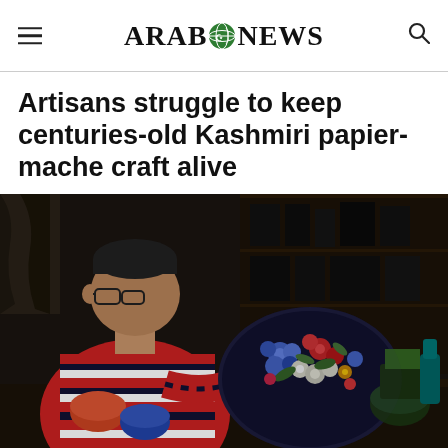ARAB NEWS
Artisans struggle to keep centuries-old Kashmiri papier-mache craft alive
[Figure (photo): A man in a red and white striped polo shirt leans over a colorfully decorated papier-mache plate/tray with floral patterns in blues, reds, greens and whites. He appears to be painting or inspecting the intricate design. In the background are shelves and additional papier-mache crafts on the table.]